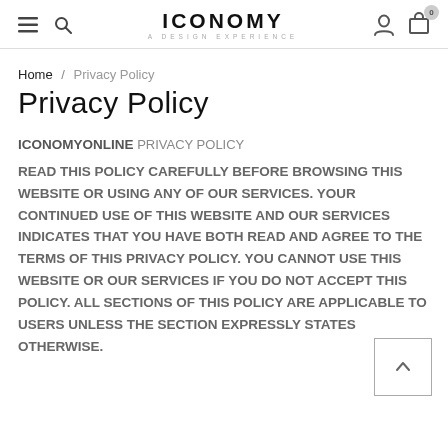ICONOMY — A DESIGN EXPERIENCE (navigation bar with hamburger menu, search, logo, user icon, cart icon with badge 0)
Home / Privacy Policy
Privacy Policy
ICONOMYONLINE PRIVACY POLICY
READ THIS POLICY CAREFULLY BEFORE BROWSING THIS WEBSITE OR USING ANY OF OUR SERVICES. YOUR CONTINUED USE OF THIS WEBSITE AND OUR SERVICES INDICATES THAT YOU HAVE BOTH READ AND AGREE TO THE TERMS OF THIS PRIVACY POLICY. YOU CANNOT USE THIS WEBSITE OR OUR SERVICES IF YOU DO NOT ACCEPT THIS POLICY. ALL SECTIONS OF THIS POLICY ARE APPLICABLE TO USERS UNLESS THE SECTION EXPRESSLY STATES OTHERWISE.